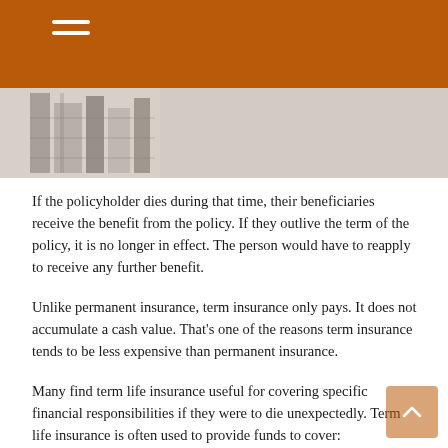[Figure (photo): Two partial photos of buildings/architecture visible in a strip below the header bar]
If the policyholder dies during that time, their beneficiaries receive the benefit from the policy. If they outlive the term of the policy, it is no longer in effect. The person would have to reapply to receive any further benefit.
Unlike permanent insurance, term insurance only pays. It does not accumulate a cash value. That’s one of the reasons term insurance tends to be less expensive than permanent insurance.
Many find term life insurance useful for covering specific financial responsibilities if they were to die unexpectedly. Term life insurance is often used to provide funds to cover:
Dependent care